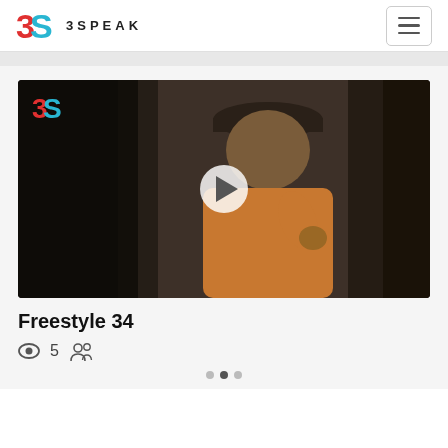3SPEAK
[Figure (screenshot): Video thumbnail showing a man in a cap and orange hoodie performing/rapping, with the 3Speak logo in the top left corner and a white play button in the center. Dark background on left and right sides.]
Freestyle 34
👁 5 👥